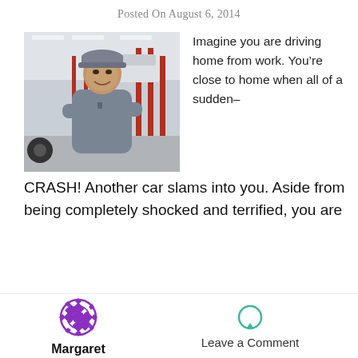Posted On August 6, 2014
[Figure (photo): A smiling mechanic in a gray uniform and cap standing with arms crossed in an auto repair shop with cars on lifts in the background.]
Imagine you are driving home from work. You’re close to home when all of a sudden–CRASH! Another car slams into you. Aside from being completely shocked and terrified, you are
[Figure (logo): Purple decorative circular logo icon]
Margaret
Leave a Comment